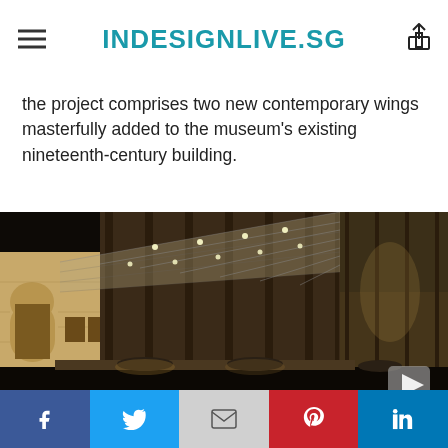INDESIGNLIVE.SG
the project comprises two new contemporary wings masterfully added to the museum's existing nineteenth-century building.
[Figure (photo): Night exterior photograph of a museum showing a contemporary glass and steel wing attached to a classical nineteenth-century stone building, with illuminated glass facade panels and ceiling lights reflected in dark stone flooring]
Facebook | Twitter | Gmail | Pinterest | LinkedIn